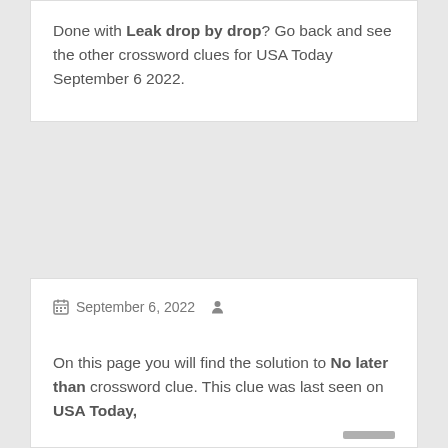Done with Leak drop by drop? Go back and see the other crossword clues for USA Today September 6 2022.
September 6, 2022
On this page you will find the solution to No later than crossword clue. This clue was last seen on USA Today,